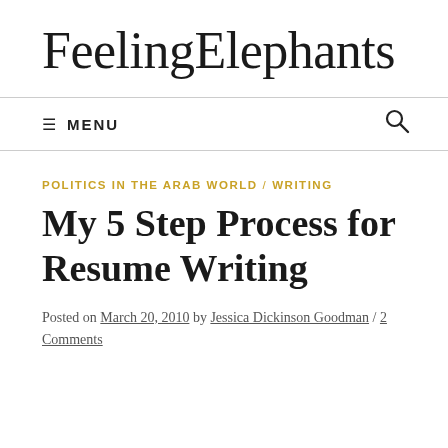FeelingElephants
≡ MENU
POLITICS IN THE ARAB WORLD / WRITING
My 5 Step Process for Resume Writing
Posted on March 20, 2010 by Jessica Dickinson Goodman / 2 Comments